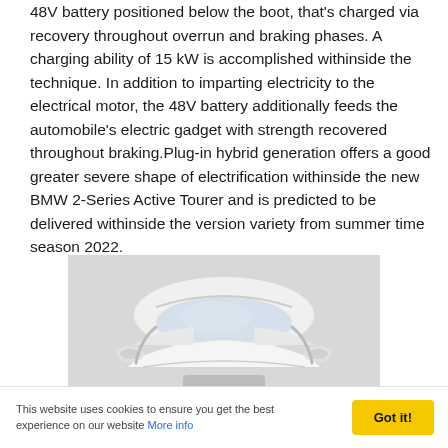48V battery positioned below the boot, that's charged via recovery throughout overrun and braking phases. A charging ability of 15 kW is accomplished withinside the technique. In addition to imparting electricity to the electrical motor, the 48V battery additionally feeds the automobile's electric gadget with strength recovered throughout braking.Plug-in hybrid generation offers a good greater severe shape of electrification withinside the new BMW 2-Series Active Tourer and is predicted to be delivered withinside the version variety from summer time season 2022.
[Figure (photo): Front view of a white BMW 2-Series Active Tourer car on a grey background, showing the windshield, roof, and front hood area.]
This website uses cookies to ensure you get the best experience on our website More info